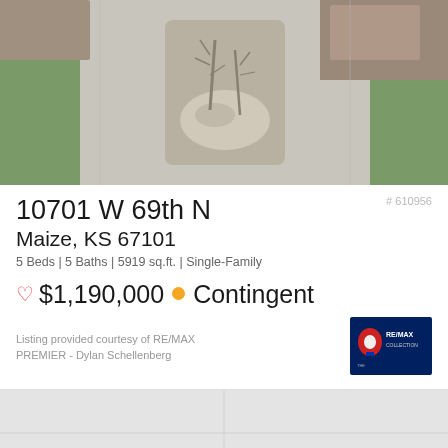[Figure (photo): Aerial view of a single-family home with driveway, landscaped median strip with bare trees and rocks, green lawn, and brick house in background]
# 610956
10701 W 69th N
Maize, KS 67101
5 Beds | 5 Baths | 5919 sq.ft. | Single-Family
♡ $1,190,000 • Contingent
Listing provided courtesy of RE/MAX PREMIER - Dylan Schellenberg
[Figure (logo): RE/MAX Collection logo on dark blue background]
[Figure (map): Gray map placeholder at bottom of page]